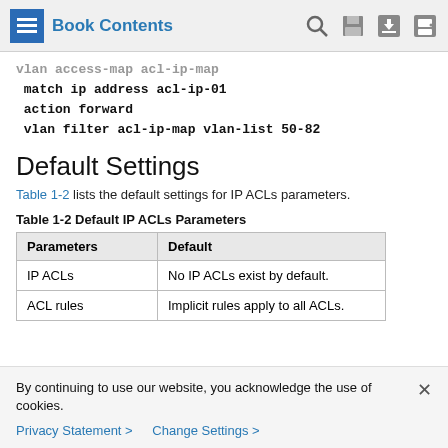Book Contents
vlan access-map acl-ip-map
 match ip address acl-ip-01
 action forward
 vlan filter acl-ip-map vlan-list 50-82
Default Settings
Table 1-2 lists the default settings for IP ACLs parameters.
Table 1-2 Default IP ACLs Parameters
| Parameters | Default |
| --- | --- |
| IP ACLs | No IP ACLs exist by default. |
| ACL rules | Implicit rules apply to all ACLs. |
By continuing to use our website, you acknowledge the use of cookies.
Privacy Statement > Change Settings >